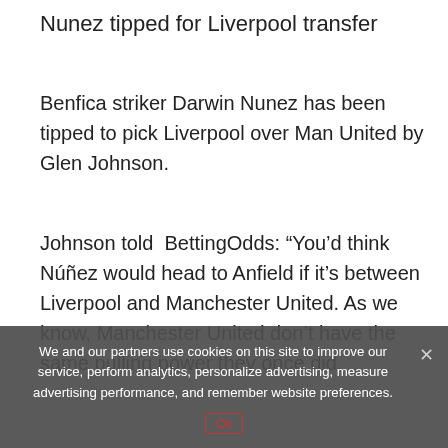Nunez tipped for Liverpool transfer
Benfica striker Darwin Nunez has been tipped to pick Liverpool over Man United by Glen Johnson.
Johnson told BettingOdds: “You’d think Núñez would head to Anfield if it’s between Liverpool and Manchester United. As we know, Manchester United don’t have the same pulling power they once did.
“There was a time when Manchester United came calling then the answer was ‘yes’. That’s not the
We and our partners use cookies on this site to improve our service, perform analytics, personalize advertising, measure advertising performance, and remember website preferences.